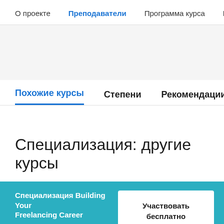О проекте   Преподаватели   Программа курса   Парам
Похожие курсы   Степени   Рекомендации
Специализация: другие курсы
Специализация Building Your Freelancing Career
Калифорнийский институт искусств
Участвовать бесплатно
Начинается 28 авг. г.